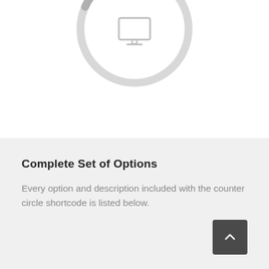[Figure (other): A circular progress/counter ring with a light gray track and a slightly darker gray filled arc segment at the bottom-right. A small laptop/monitor icon is centered inside the circle.]
Complete Set of Options
Every option and description included with the counter circle shortcode is listed below.